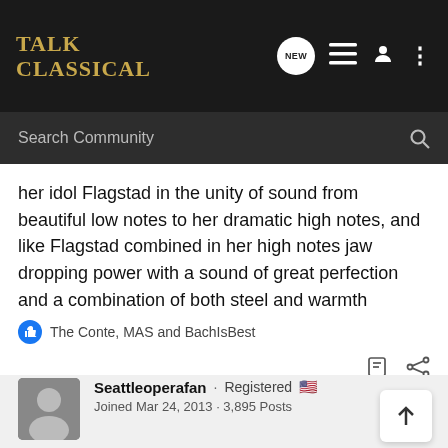Talk Classical
her idol Flagstad in the unity of sound from beautiful low notes to her dramatic high notes, and like Flagstad combined in her high notes jaw dropping power with a sound of great perfection and a combination of both steel and warmth
The Conte, MAS and BachIsBest
Seattleoperafan · Registered
Joined Mar 24, 2013 · 3,895 Posts
Discussion Starter · #4 · Jan 13, 2022
BachIsBest said: